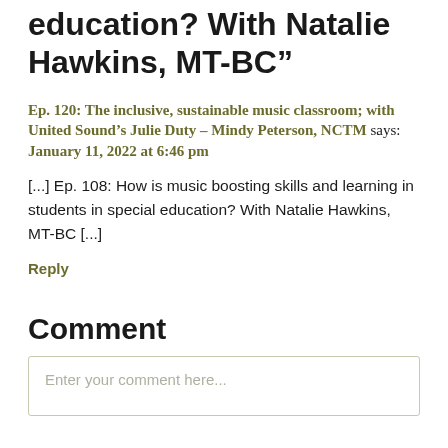education? With Natalie Hawkins, MT-BC”
Ep. 120: The inclusive, sustainable music classroom; with United Sound’s Julie Duty – Mindy Peterson, NCTM says:
January 11, 2022 at 6:46 pm
[...] Ep. 108: How is music boosting skills and learning in students in special education? With Natalie Hawkins, MT-BC [...]
Reply
Comment
Enter your comment here...